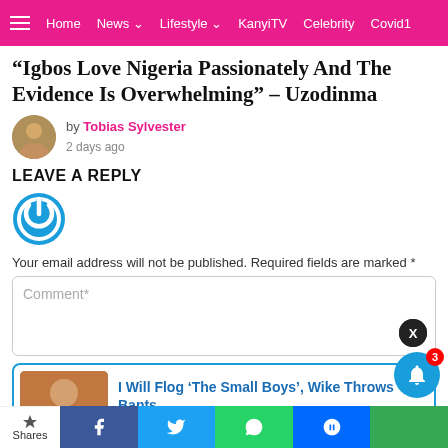Home  News  Lifestyle  KanyiTV  Celebrity  Covid1
“Igbos Love Nigeria Passionately And The Evidence Is Overwhelming” – Uzodinma
by Tobias Sylvester
2 days ago
LEAVE A REPLY
[Figure (logo): Blue circular power/login icon]
Your email address will not be published. Required fields are marked *
Comment*
I Will Flog ‘The Small Boys’, Wike Throws Bants
8 hours ago
Shares  Facebook  Twitter  WhatsApp  Messenger